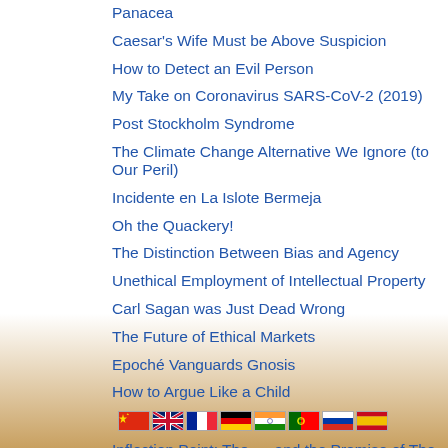Panacea
Caesar's Wife Must be Above Suspicion
How to Detect an Evil Person
My Take on Coronavirus SARS-CoV-2 (2019)
Post Stockholm Syndrome
The Climate Change Alternative We Ignore (to Our Peril)
Incidente en La Islote Bermeja
Oh the Quackery!
The Distinction Between Bias and Agency
Unethical Employment of Intellectual Property
Carl Sagan was Just Dead Wrong
The Future of Ethical Markets
Epoché Vanguards Gnosis
How to Argue Like a Child
Inflection Point: The .... and the Promise of The Gho...